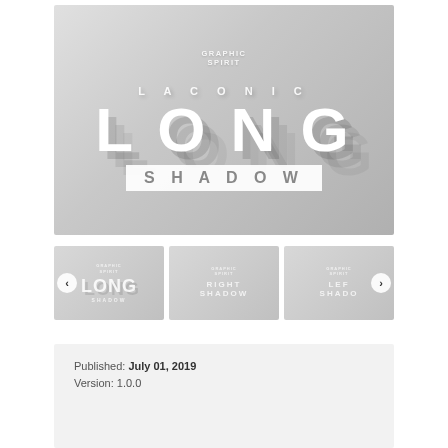[Figure (illustration): Main banner for 'Laconic Long Shadow' graphic design product. Grey gradient background with white text showing brand 'Graphic Spirit' at top center, then 'LACONIC' in spaced caps, 'LONG' in large bold font with diagonal long shadows, and 'SHADOW' in a white box below. Three thumbnail previews below the main banner showing variations: main 'Long Shadow', 'Right Shadow', and partially visible 'Left Shadow'. Navigation arrows on left and right of thumbnails.]
Published: July 01, 2019
Version: 1.0.0